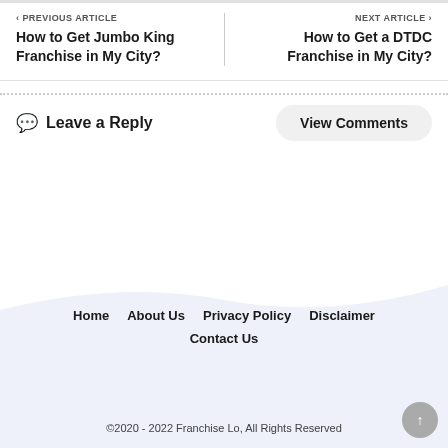PREVIOUS ARTICLE | How to Get Jumbo King Franchise in My City? | NEXT ARTICLE | How to Get a DTDC Franchise in My City?
Leave a Reply
View Comments
Home | About Us | Privacy Policy | Disclaimer | Contact Us
©2020 - 2022 Franchise Lo, All Rights Reserved